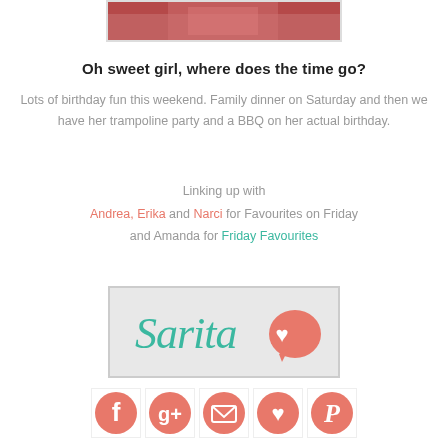[Figure (photo): Partial photo of a person in a pink/red top, cropped at top of page]
Oh sweet girl, where does the time go?
Lots of birthday fun this weekend. Family dinner on Saturday and then we have her trampoline party and a BBQ on her actual birthday.
Linking up with Andrea, Erika and Narci for Favourites on Friday and Amanda for Friday Favourites
[Figure (logo): Sarita logo in teal script font with a pink speech bubble heart icon]
[Figure (infographic): Row of 5 coral/salmon social media icon buttons: Facebook, Google+, Email, Heart/Bloglovin, Pinterest]